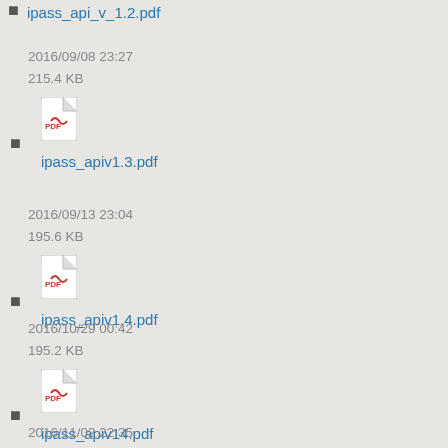ipass_api_v_1.2.pdf
2016/09/08 23:27
215.4 KB
ipass_apiv1.3.pdf
2016/09/13 23:04
195.6 KB
ipass_apiv1.4.pdf
2016/10/29 00:42
195.2 KB
ipass_apiv14.pdf
2016/11/02 22:35